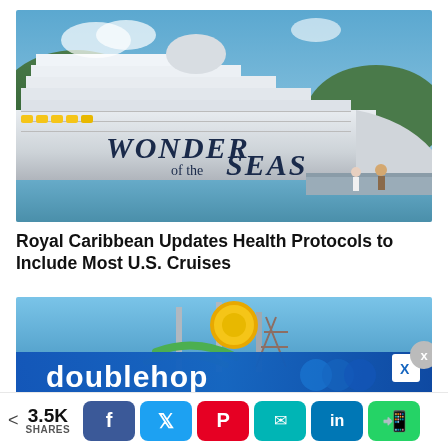[Figure (photo): Large cruise ship 'Wonder of the Seas' docked at a pier with passengers walking on the pier, blue sky background]
Royal Caribbean Updates Health Protocols to Include Most U.S. Cruises
[Figure (photo): Cruise ship waterpark deck with colorful water slides and a yellow circular ride structure, blue sky background, with a 'doublehop' advertisement overlay at the bottom]
< 3.5K SHARES (social share bar with Facebook, Twitter, Pinterest, Email, LinkedIn, WhatsApp buttons)